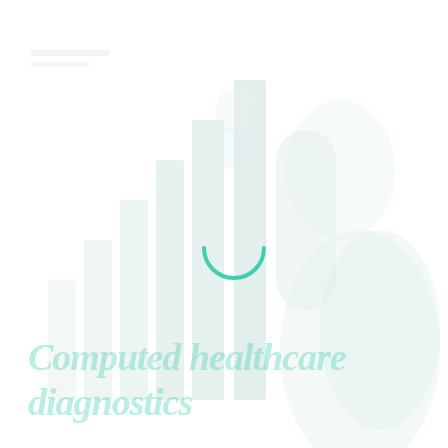[Figure (illustration): A watermark-style faded illustration of a bar chart with upward trending bars in very light gray/white tones, overlaid with a teal/green loading spinner arc (bottom half circle) in the center. Below the chart illustration, large faded teal/mint colored text reads 'Computed healthcare diagnostics' in a decorative script-like font.]